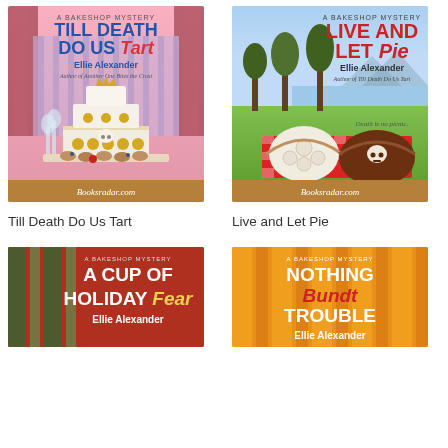[Figure (illustration): Book cover: Till Death Do Us Tart by Ellie Alexander, A Bakeshop Mystery. Pink/purple background with wedding cake decorated with skull, champagne glasses, and pastries. Booksradar.com watermark.]
[Figure (illustration): Book cover: Live and Let Pie by Ellie Alexander, A Bakeshop Mystery. Blue sky outdoor picnic scene with pies on red checkered tablecloth, trees and lake in background. Booksradar.com watermark.]
Till Death Do Us Tart
Live and Let Pie
[Figure (illustration): Book cover: A Cup of Holiday Fear by Ellie Alexander, A Bakeshop Mystery. Red and green striped background with white and red text.]
[Figure (illustration): Book cover: Nothing Bundt Trouble by Ellie Alexander, A Bakeshop Mystery. Orange and yellow striped background with white and red text.]